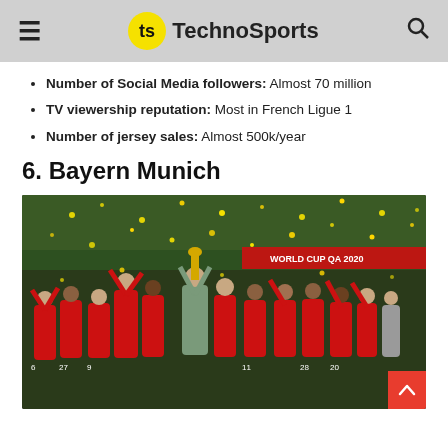TechnoSports
Number of Social Media followers: Almost 70 million
TV viewership reputation: Most in French Ligue 1
Number of jersey sales: Almost 500k/year
6. Bayern Munich
[Figure (photo): Bayern Munich players celebrating with trophy, confetti falling, FIFA Club World Cup Qatar 2020 banner visible, players in red jerseys]